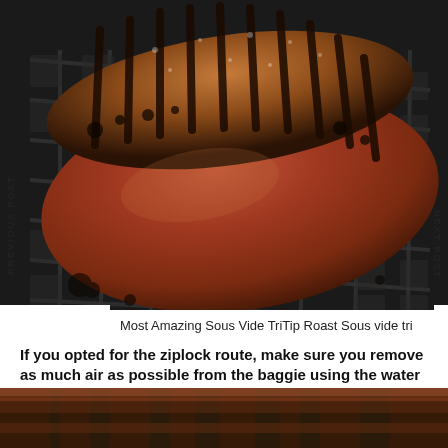[Figure (photo): Close-up photo of a grilled/smoked meat roast on a black wire rack, dark background with grill marks and caramelized crust]
PREVIOUS POST
NEXT POST
Most Amazing Sous Vide TriTip Roast Sous vide tri
If you opted for the ziplock route, make sure you remove as much air as possible from the baggie using the water displacement method.
[Figure (photo): Partial photo of grilled meat at the bottom of the page]